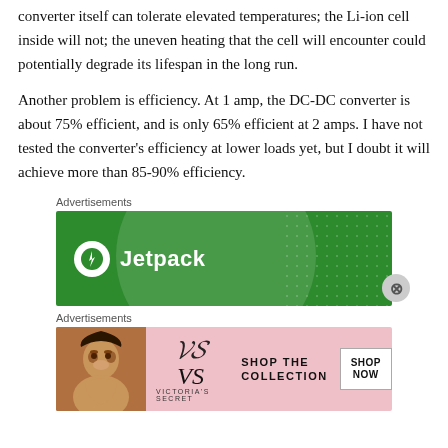converter itself can tolerate elevated temperatures; the Li-ion cell inside will not; the uneven heating that the cell will encounter could potentially degrade its lifespan in the long run.
Another problem is efficiency. At 1 amp, the DC-DC converter is about 75% efficient, and is only 65% efficient at 2 amps. I have not tested the converter’s efficiency at lower loads yet, but I doubt it will achieve more than 85-90% efficiency.
[Figure (illustration): Jetpack advertisement on green background with circular logo containing a lightning bolt and the text 'Jetpack']
[Figure (illustration): Victoria's Secret advertisement with pink background, woman's photo on left, VS logo, text 'SHOP THE COLLECTION', and a white 'SHOP NOW' button]